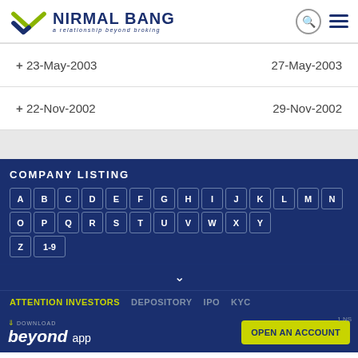[Figure (logo): Nirmal Bang logo with green and blue chevron/wave mark and text 'NIRMAL BANG — a relationship beyond broking']
| + 23-May-2003 | 27-May-2003 |
| + 22-Nov-2002 | 29-Nov-2002 |
COMPANY LISTING
A B C D E F G H I J K L M N O P Q R S T U V W X Y Z 1-9
ATTENTION INVESTORS   DEPOSITORY   IPO   KYC
DOWNLOAD beyond app   OPEN AN ACCOUNT   1.NS